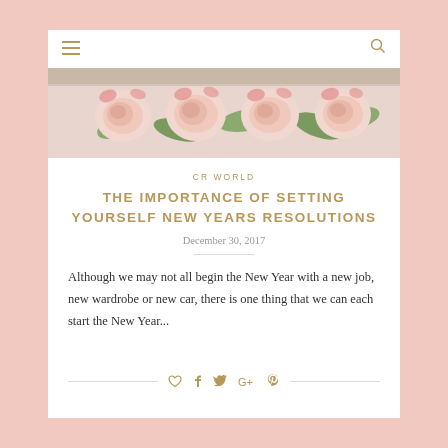[Figure (photo): Photo of pink roses with green leaves on a white background, cropped header image]
CR WORLD
THE IMPORTANCE OF SETTING YOURSELF NEW YEARS RESOLUTIONS
December 30, 2017
Although we may not all begin the New Year with a new job, new wardrobe or new car, there is one thing that we can each start the New Year...
[Figure (illustration): Social sharing icons: heart, facebook, twitter, google+, pinterest]